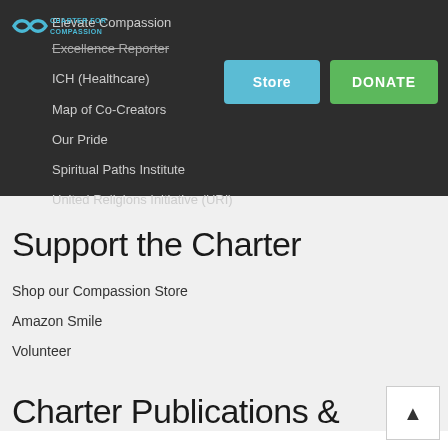[Figure (logo): Charter for Compassion logo with infinity symbol and text]
Elevate Compassion
Excellence Reporter
ICH (Healthcare)
Map of Co-Creators
Our Pride
Spiritual Paths Institute
United Religions Initiative (URI)
Support the Charter
Shop our Compassion Store
Amazon Smile
Volunteer
Charter Publications &